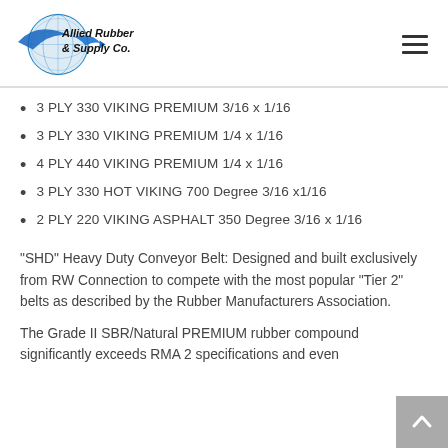[Figure (logo): Allied Rubber & Supply Co. logo with globe and swoosh graphic]
3 PLY 330 VIKING PREMIUM 3/16 x 1/16
3 PLY 330 VIKING PREMIUM 1/4 x 1/16
4 PLY 440 VIKING PREMIUM 1/4 x 1/16
3 PLY 330 HOT VIKING 700 Degree 3/16 x1/16
2 PLY 220 VIKING ASPHALT 350 Degree 3/16 x 1/16
"SHD" Heavy Duty Conveyor Belt: Designed and built exclusively from RW Connection to compete with the most popular "Tier 2" belts as described by the Rubber Manufacturers Association.
The Grade II SBR/Natural PREMIUM rubber compound significantly exceeds RMA 2 specifications and even